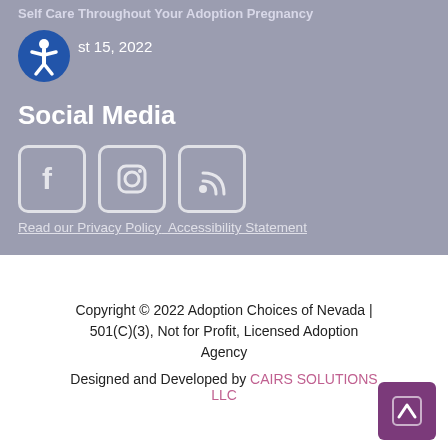Self Care Throughout Your Adoption Pregnancy
August 15, 2022
Social Media
[Figure (infographic): Social media icons: Facebook, Instagram, RSS feed]
Read our Privacy Policy  Accessibility Statement
Copyright © 2022 Adoption Choices of Nevada | 501(C)(3), Not for Profit, Licensed Adoption Agency
Designed and Developed by CAIRS SOLUTIONS LLC